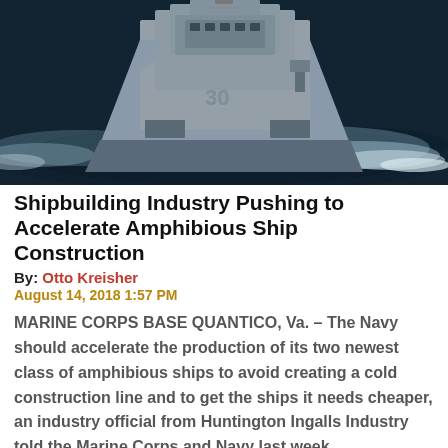[Figure (photo): Aerial view of a US Navy amphibious warship (numbered 30) underway at sea, with white wake visible, photographed from above and slightly forward of the vessel.]
Shipbuilding Industry Pushing to Accelerate Amphibious Ship Construction
By: Otto Kreisher
August 14, 2018 1:57 PM
MARINE CORPS BASE QUANTICO, Va. – The Navy should accelerate the production of its two newest class of amphibious ships to avoid creating a cold construction line and to get the ships it needs cheaper, an industry official from Huntington Ingalls Industry told the Marine Corps and Navy last week.